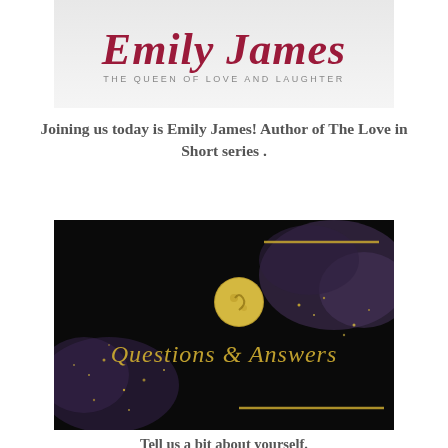[Figure (logo): Emily James logo — cursive script name in dark red/crimson with subtitle 'THE QUEEN OF LOVE AND LAUGHTER' in grey, on a light grey/white background]
Joining us today is Emily James! Author of The Love in Short series .
[Figure (illustration): Dark banner image with black background, purple smoky clouds, gold glitter, a golden moon/planet, and gold cursive text reading 'Questions & Answers' with two horizontal gold lines as decorative borders]
Tell us a bit about yourself.
Hi!